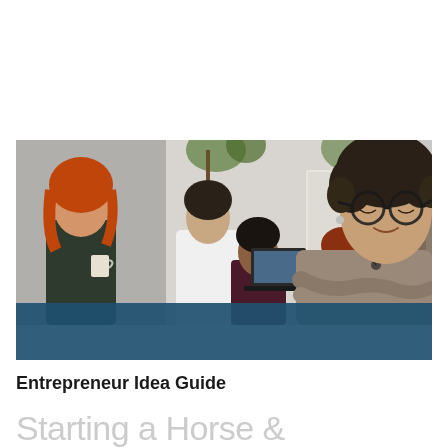[Figure (photo): A group of people in a modern office workspace. In the foreground on the right, a woman with short curly dark hair wearing round glasses and a taupe/beige top with arms crossed, smiling at the camera. In the background, a red-haired woman holding a coffee cup, a woman in white, and two men sitting looking at a laptop. Plants and office decor visible. The bottom portion of the image has a dark teal/navy blue band overlay.]
Entrepreneur Idea Guide
Starting a Horse &